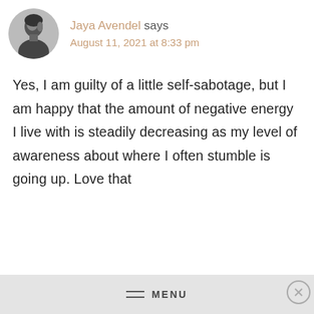Jaya Avendel says
August 11, 2021 at 8:33 pm
Yes, I am guilty of a little self-sabotage, but I am happy that the amount of negative energy I live with is steadily decreasing as my level of awareness about where I often stumble is going up. Love that
MENU
Advertisements
[Figure (screenshot): DuckDuckGo advertisement banner: Search, browse, and email with more privacy. All in One Free App. Shows a phone with DuckDuckGo logo.]